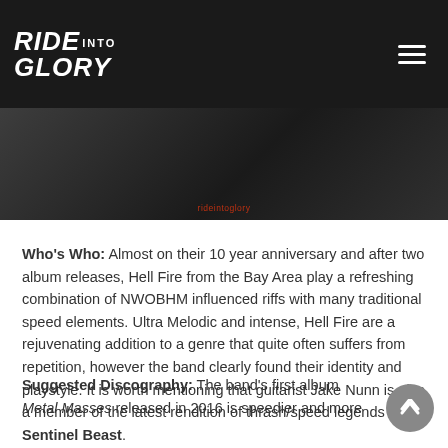Ride Into Glory
[Figure (photo): Dark banner image with album art or band imagery, with a small red text label at the bottom center]
Who's Who: Almost on their 10 year anniversary and after two album releases, Hell Fire from the Bay Area play a refreshing combination of NWOBHM influenced riffs with many traditional speed elements. Ultra Melodic and intense, Hell Fire are a rejuvenating addition to a genre that quite often suffers from repetition, however the band clearly found their identity and playstyle. It is worth mentioning that guitarist Jake Nunn is also a member of the latest rendition of thrash/speed legends Sentinel Beast.
Suggested Discography: The band's first album Metal Masses released in 2016 is speedier and more